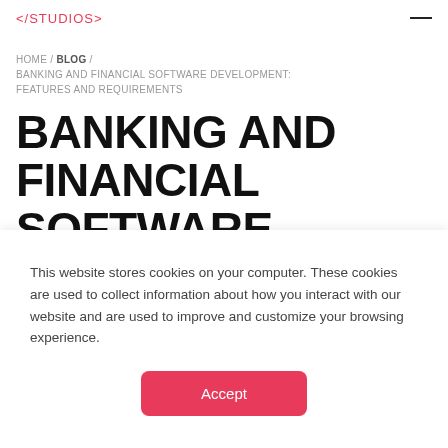</STUDIOS>
HOME / BLOG / BANKING AND FINANCIAL SOFTWARE DEVELOPMENT: FEATURES AND REQUIREMENTS
BANKING AND FINANCIAL SOFTWARE DEVELOPMENT: FEATURES AND REQUIREMENTS
This website stores cookies on your computer. These cookies are used to collect information about how you interact with our website and are used to improve and customize your browsing experience.
Accept